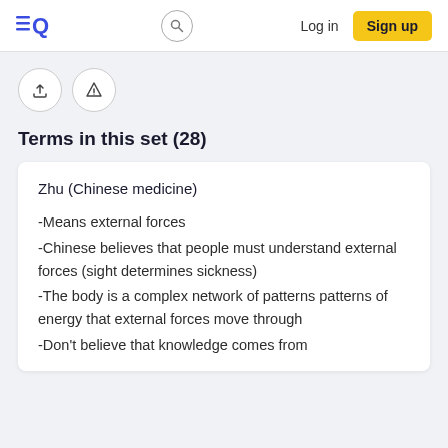Quizlet — Log in | Sign up
Terms in this set (28)
Zhu (Chinese medicine)
-Means external forces
-Chinese believes that people must understand external forces (sight determines sickness)
-The body is a complex network of patterns patterns of energy that external forces move through
-Don't believe that knowledge comes from